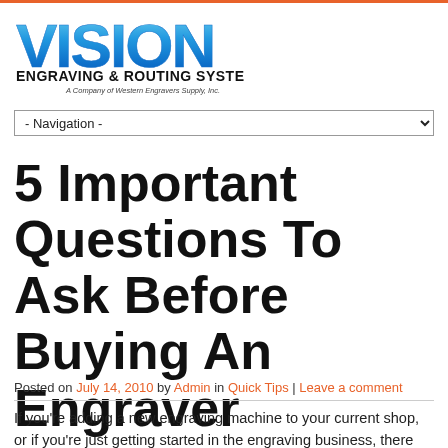[Figure (logo): Vision Engraving & Routing Systems logo — stylized blue gradient VISION text with 'ENGRAVING & ROUTING SYSTEMS' below and 'A Company of Western Engravers Supply, Inc.' tagline]
5 Important Questions To Ask Before Buying An Engraver
Posted on July 14, 2010 by Admin in Quick Tips | Leave a comment
If you're adding a new engraving machine to your current shop, or if you're just getting started in the engraving business, there